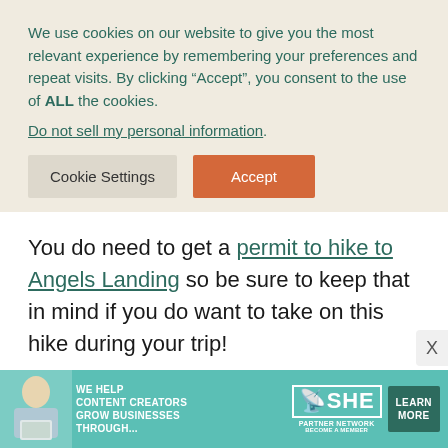We use cookies on our website to give you the most relevant experience by remembering your preferences and repeat visits. By clicking “Accept”, you consent to the use of ALL the cookies.
Do not sell my personal information.
You do need to get a permit to hike to Angels Landing so be sure to keep that in mind if you do want to take on this hike during your trip!
Riverside Walk
[Figure (infographic): Advertisement banner for SHE Media Partner Network. Shows a woman with laptop, text reading WE HELP CONTENT CREATORS GROW BUSINESSES THROUGH..., SHE logo, and a LEARN MORE button in dark teal.]